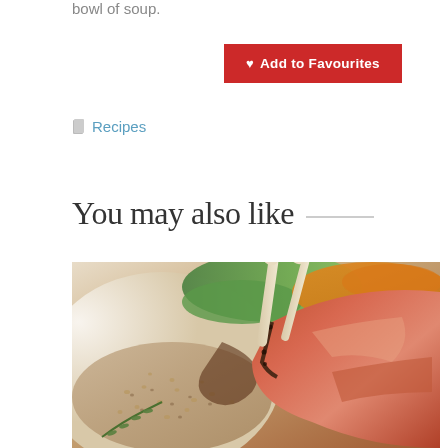bowl of soup.
♥ Add to Favourites
Recipes
You may also like
[Figure (photo): Close-up photo of a rack of lamb dish with grain/rice pilaf, green vegetables and carrots in the background]